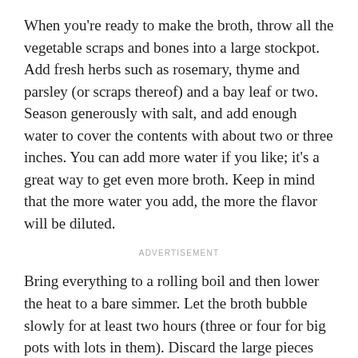When you're ready to make the broth, throw all the vegetable scraps and bones into a large stockpot. Add fresh herbs such as rosemary, thyme and parsley (or scraps thereof) and a bay leaf or two. Season generously with salt, and add enough water to cover the contents with about two or three inches. You can add more water if you like; it's a great way to get even more broth. Keep in mind that the more water you add, the more the flavor will be diluted.
ADVERTISEMENT
Bring everything to a rolling boil and then lower the heat to a bare simmer. Let the broth bubble slowly for at least two hours (three or four for big pots with lots in them). Discard the large pieces and use a fine-mesh sieve to strain the broth into freezer containers or resealable plastic bags.